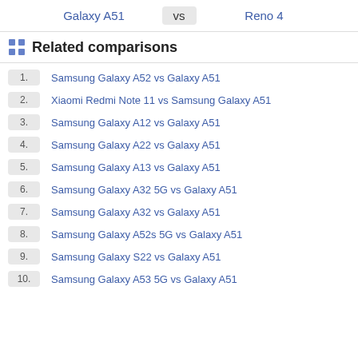Galaxy A51 vs Reno 4
Related comparisons
Samsung Galaxy A52 vs Galaxy A51
Xiaomi Redmi Note 11 vs Samsung Galaxy A51
Samsung Galaxy A12 vs Galaxy A51
Samsung Galaxy A22 vs Galaxy A51
Samsung Galaxy A13 vs Galaxy A51
Samsung Galaxy A32 5G vs Galaxy A51
Samsung Galaxy A32 vs Galaxy A51
Samsung Galaxy A52s 5G vs Galaxy A51
Samsung Galaxy S22 vs Galaxy A51
Samsung Galaxy A53 5G vs Galaxy A51